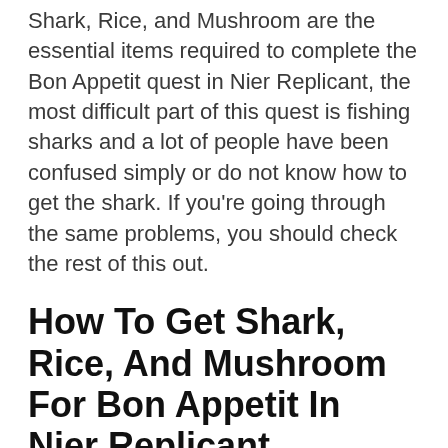Shark, Rice, and Mushroom are the essential items required to complete the Bon Appetit quest in Nier Replicant, the most difficult part of this quest is fishing sharks and a lot of people have been confused simply or do not know how to get the shark. If you're going through the same problems, you should check the rest of this out.
How To Get Shark, Rice, And Mushroom For Bon Appetit In Nier Replicant
To get Rice and Mushroom for the Bon Appetit quest in Nier Replicant, all you have to do is go to the Seafront Grocery Store and purchase these items for 600 Gold and 800 Gold respectively. To get the shark, you're going to need to fish but for